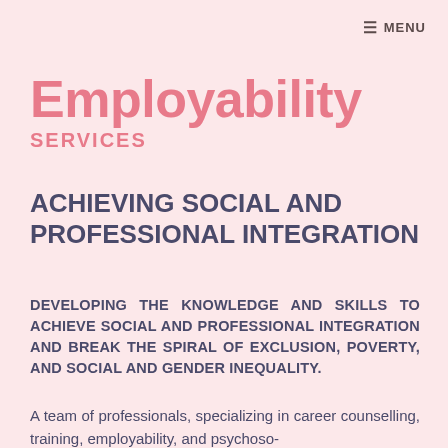≡ MENU
Employability
SERVICES
ACHIEVING SOCIAL AND PROFESSIONAL INTEGRATION
DEVELOPING THE KNOWLEDGE AND SKILLS TO ACHIEVE SOCIAL AND PROFESSIONAL INTEGRATION AND BREAK THE SPIRAL OF EXCLUSION, POVERTY, AND SOCIAL AND GENDER INEQUALITY.
A team of professionals, specializing in career counselling, training, employability, and psychoso-